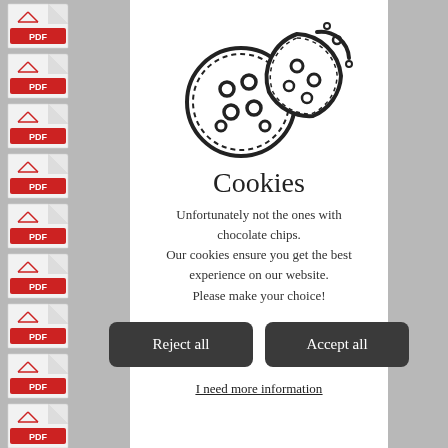[Figure (illustration): Cookie consent modal dialog with cookie illustration, title, description text, Reject all and Accept all buttons, and a link for more information. Background shows PDF document icons in a sidebar.]
Cookies
Unfortunately not the ones with chocolate chips. Our cookies ensure you get the best experience on our website. Please make your choice!
Reject all
Accept all
I need more information